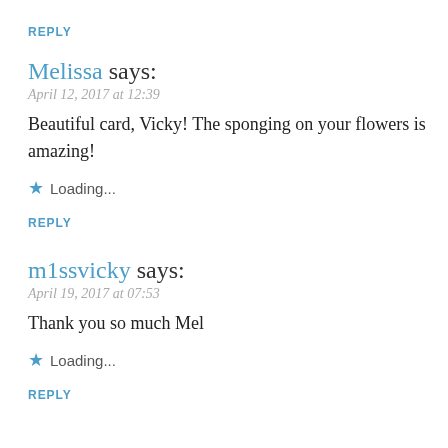REPLY
Melissa says:
April 12, 2017 at 12:39
Beautiful card, Vicky! The sponging on your flowers is amazing!
Loading...
REPLY
m1ssvicky says:
April 19, 2017 at 07:53
Thank you so much Mel
Loading...
REPLY